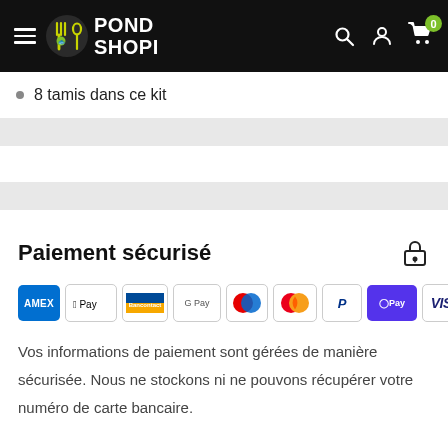[Figure (logo): PondShopi website header with hamburger menu, logo (fork/spoon icon with a pond logo), brand name POND SHOPI, and right-side icons: search, account, cart with badge 0]
8 tamis dans ce kit
Paiement sécurisé
[Figure (infographic): Row of payment method logos: AMEX, Apple Pay, Bancontact, Google Pay, Maestro, Mastercard, PayPal, Shop Pay (purple), Visa]
Vos informations de paiement sont gérées de manière sécurisée. Nous ne stockons ni ne pouvons récupérer votre numéro de carte bancaire.